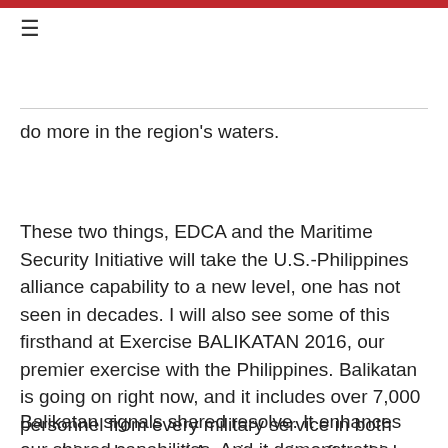≡
do more in the region's waters.
These two things, EDCA and the Maritime Security Initiative will take the U.S.-Philippines alliance capability to a new level, one has not seen in decades. I will also see some of this firsthand at Exercise BALIKATAN 2016, our premier exercise with the Philippines. Balikatan is going on right now, and it includes over 7,000 personnel from every military service in both countries, dozens of American aircraft, vehicles, and vessels, including one of our air craft carriers, and several important components, including a simulated gas and oil platform recovery raid in the South China Sea.
Balikatan signals shared resolve. It enhances our shared capabilities. And it demonstrates, once again, America's